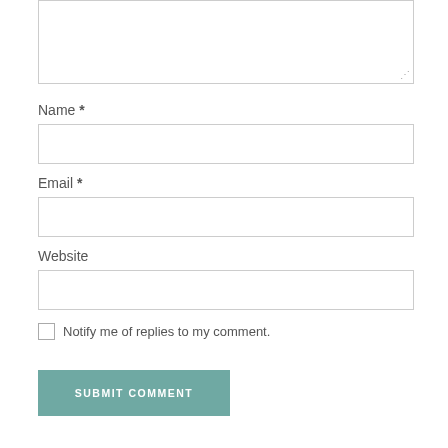[Figure (screenshot): A comment form section showing a textarea at top (partially cropped), then Name, Email, and Website text input fields, a checkbox labeled 'Notify me of replies to my comment.', and a teal 'SUBMIT COMMENT' button.]
Name *
Email *
Website
Notify me of replies to my comment.
SUBMIT COMMENT